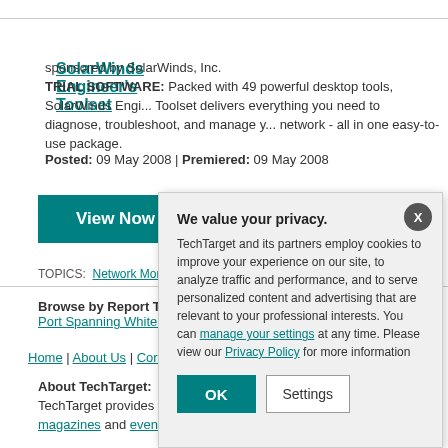SolarWinds Engineer's Toolset
sponsored by SolarWinds, Inc.
TRIAL SOFTWARE: Packed with 49 powerful desktop tools, SolarWinds Engineer's Toolset delivers everything you need to diagnose, troubleshoot, and manage your network - all in one easy-to-use package.
Posted: 09 May 2008 | Premiered: 09 May 2008
View Now
TOPICS:  Network Moni...
Browse by Report Type Port Spanning White Pa...
Home | About Us | Cor...
About TechTarget: TechTarget provides en... cost-effective IT purcha... magazines and events.
We value your privacy. TechTarget and its partners employ cookies to improve your experience on our site, to analyze traffic and performance, and to serve personalized content and advertising that are relevant to your professional interests. You can manage your settings at any time. Please view our Privacy Policy for more information